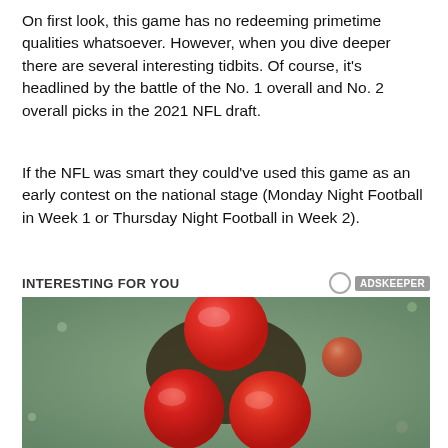On first look, this game has no redeeming primetime qualities whatsoever. However, when you dive deeper there are several interesting tidbits. Of course, it's headlined by the battle of the No. 1 overall and No. 2 overall picks in the 2021 NFL draft.
If the NFL was smart they could've used this game as an early contest on the national stage (Monday Night Football in Week 1 or Thursday Night Football in Week 2).
INTERESTING FOR YOU
[Figure (photo): Microscope image of virus particles (spherical, red/orange colored) on a textured background, resembling SARS-CoV-2 coronavirus particles under electron microscopy.]